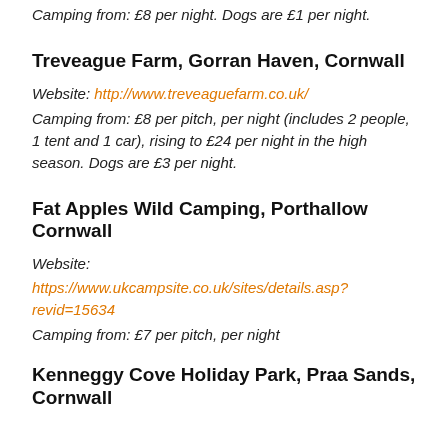Camping from: £8 per night. Dogs are £1 per night.
Treveague Farm, Gorran Haven, Cornwall
Website: http://www.treveaguefarm.co.uk/
Camping from: £8 per pitch, per night (includes 2 people, 1 tent and 1 car), rising to £24 per night in the high season. Dogs are £3 per night.
Fat Apples Wild Camping, Porthallow Cornwall
Website:
https://www.ukcampsite.co.uk/sites/details.asp?revid=15634
Camping from: £7 per pitch, per night
Kenneggy Cove Holiday Park, Praa Sands, Cornwall